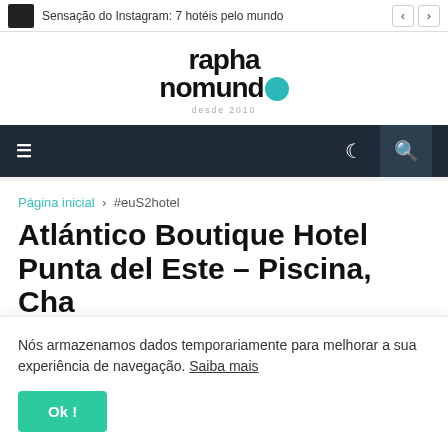Sensação do Instagram: 7 hotéis pelo mundo
[Figure (logo): rapha nomundo logo with globe icon and 'desde 2010' tagline]
Navigation bar with hamburger menu, dark mode icon, and search icon
Página inicial › #euS2hotel
Atlántico Boutique Hotel Punta del Este – Piscina, Cha...
Nós armazenamos dados temporariamente para melhorar a sua experiência de navegação. Saiba mais
Ok !